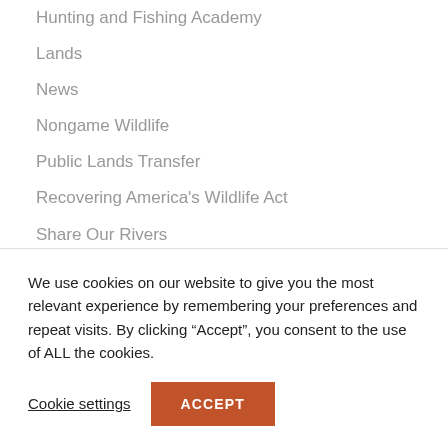Hunting and Fishing Academy
Lands
News
Nongame Wildlife
Public Lands Transfer
Recovering America's Wildlife Act
Share Our Rivers
Tennessee SCTP
Turkey
Waterfowl
Waters
Wildlife…
We use cookies on our website to give you the most relevant experience by remembering your preferences and repeat visits. By clicking “Accept”, you consent to the use of ALL the cookies.
Cookie settings
ACCEPT